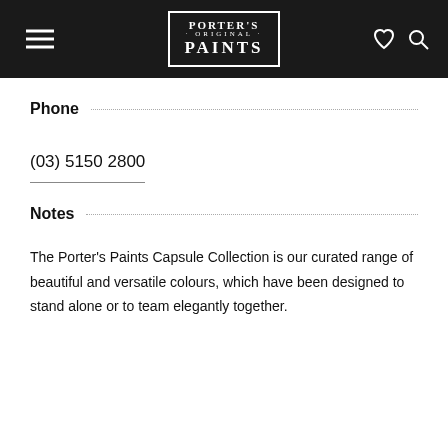Porter's Original Paints
Phone
(03) 5150 2800
Notes
The Porter's Paints Capsule Collection is our curated range of beautiful and versatile colours, which have been designed to stand alone or to team elegantly together.